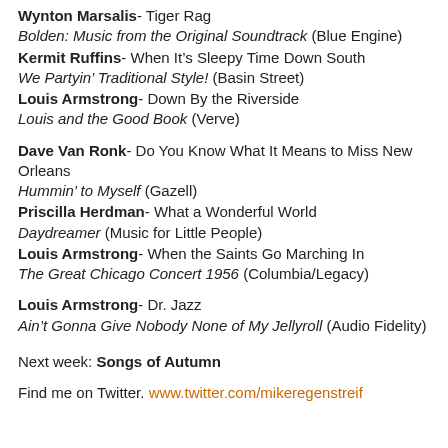Wynton Marsalis- Tiger Rag
Bolden: Music from the Original Soundtrack (Blue Engine)
Kermit Ruffins- When It's Sleepy Time Down South
We Partyin' Traditional Style! (Basin Street)
Louis Armstrong- Down By the Riverside
Louis and the Good Book (Verve)
Dave Van Ronk- Do You Know What It Means to Miss New Orleans
Hummin' to Myself (Gazell)
Priscilla Herdman- What a Wonderful World
Daydreamer (Music for Little People)
Louis Armstrong- When the Saints Go Marching In
The Great Chicago Concert 1956 (Columbia/Legacy)
Louis Armstrong- Dr. Jazz
Ain't Gonna Give Nobody None of My Jellyroll (Audio Fidelity)
Next week: Songs of Autumn
Find me on Twitter. www.twitter.com/mikeregenstreif